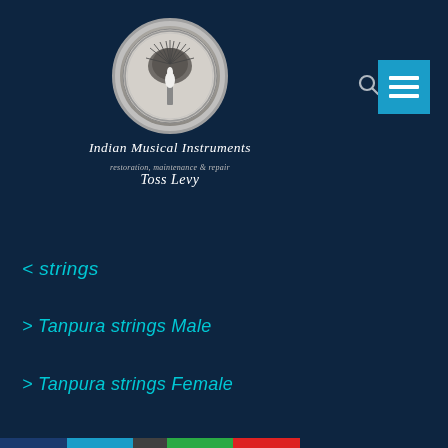[Figure (logo): Circular medallion logo with tree/peacock design for Indian Musical Instruments by Toss Levy]
Indian Musical Instruments
restoration, maintenance & repair
Toss Levy
< strings
> Tanpura strings Male
> Tanpura strings Female